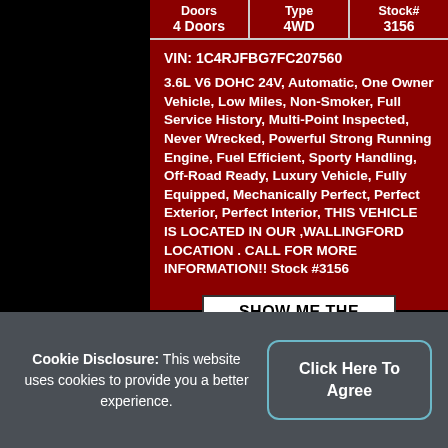| Doors | Type | Stock# |
| --- | --- | --- |
| 4 Doors | 4WD | 3156 |
VIN: 1C4RJFBG7FC207560
3.6L V6 DOHC 24V, Automatic, One Owner Vehicle, Low Miles, Non-Smoker, Full Service History, Multi-Point Inspected, Never Wrecked, Powerful Strong Running Engine, Fuel Efficient, Sporty Handling, Off-Road Ready, Luxury Vehicle, Fully Equipped, Mechanically Perfect, Perfect Exterior, Perfect Interior, THIS VEHICLE IS LOCATED IN OUR ,WALLINGFORD LOCATION . CALL FOR MORE INFORMATION!! Stock #3156
[Figure (logo): Show Me The CARFAX logo]
Cookie Disclosure: This website uses cookies to provide you a better experience.
Click Here To Agree